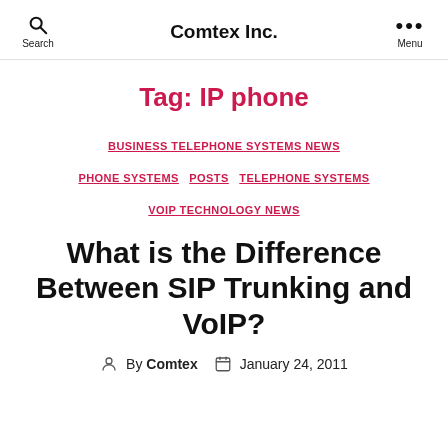Comtex Inc.
Tag: IP phone
BUSINESS TELEPHONE SYSTEMS NEWS  PHONE SYSTEMS  POSTS  TELEPHONE SYSTEMS  VOIP TECHNOLOGY NEWS
What is the Difference Between SIP Trunking and VoIP?
By Comtex  January 24, 2011